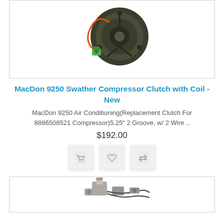[Figure (photo): AC compressor clutch with coil - a dark green circular compressor clutch with an orange wire and green connector fitting, shown against white background]
MacDon 9250 Swather Compressor Clutch with Coil - New
MacDon 9250 Air Conditioning(Replacement Clutch For 8886508521 Compressor)5.25" 2 Groove, w/ 2 Wire ..
$192.00
[Figure (infographic): Three action icon buttons: shopping cart, heart/wishlist, and compare arrows, each in a light grey rounded square]
[Figure (photo): Partial view of another product - automotive AC component/valve assembly in grey, shown at bottom of page]